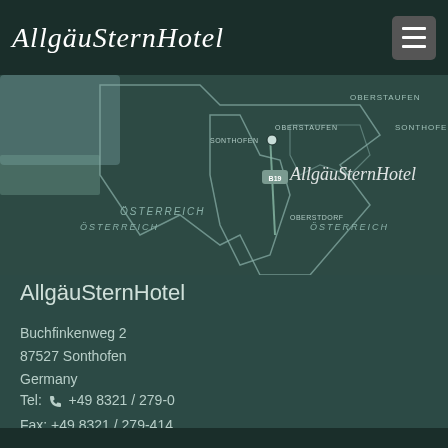AllgäuSternHotel
[Figure (map): Regional map showing Sonthofen area with Oberstaufen, Sonhofen, Oberstdorf locations marked, with AllgäuSternHotel logo overlay and ÖSTERREICH labels]
AllgäuSternHotel
Buchfinkenweg 2
87527 Sonthofen
Germany
Tel: 📞 +49 8321 / 279-0
Fax: +49 8321 / 279-414
E-Mail: ✉ info@allgaeustern.de